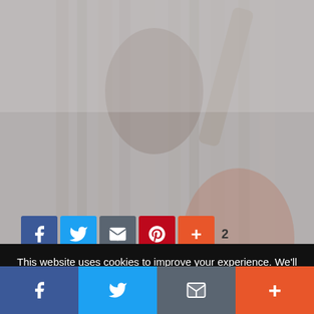[Figure (photo): Dark horror-themed photo showing a clown or scary figure with a wooden background, heavily desaturated/faded overlay]
BY NADIA VELLA
Coulrophobia. No need to look it up. It's what you're feeling right now. The unreasonable fear of clowns.
This website uses cookies to improve your experience. We'll assume you're ok with this, but you can opt-out if you wish.